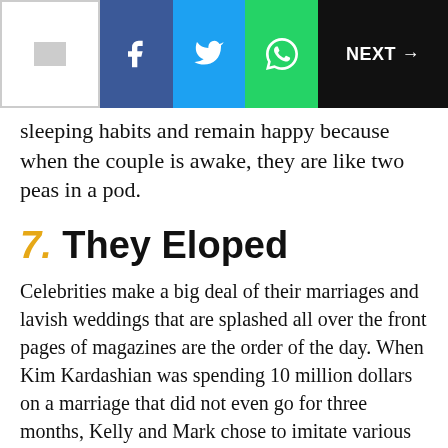NEXT →
sleeping habits and remain happy because when the couple is awake, they are like two peas in a pod.
7. They Eloped
Celebrities make a big deal of their marriages and lavish weddings that are splashed all over the front pages of magazines are the order of the day. When Kim Kardashian was spending 10 million dollars on a marriage that did not even go for three months, Kelly and Mark chose to imitate various teenagers and eloped to Las Vegas saving a lot of money in the process not to mention the time and effort that holding a lavish wedding would have involved. According to vanity fair, Kelly said they eloped